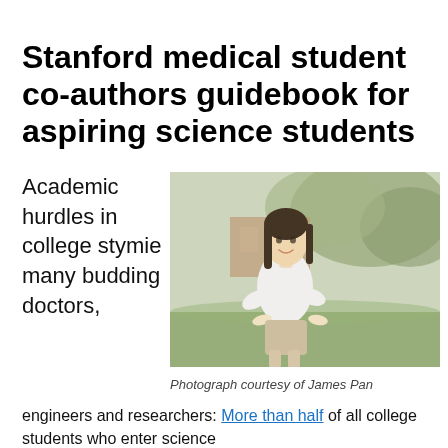Stanford medical student co-authors guidebook for aspiring science students
Academic hurdles in college stymie many budding doctors, engineers and researchers: More than half of all college students who enter science
[Figure (photo): Portrait photo of a young woman with long dark hair, wearing a white blouse, smiling and standing outdoors with trees and a building in the background.]
Photograph courtesy of James Pan